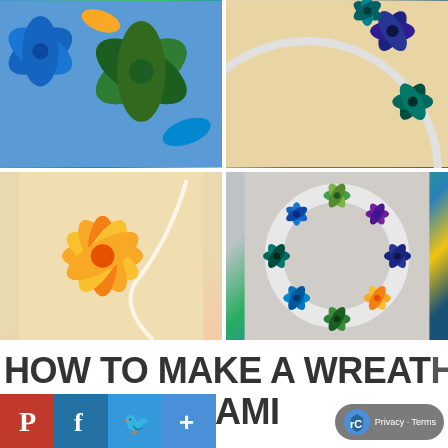[Figure (photo): Four-panel photo grid showing origami flowers: top-left shows green and blue kusudama origami flowers close-up; top-right shows dark blue and teal origami flowers arranged around a white ring on beige background; bottom-left shows a single yellow origami star/flower on beige background with white cord; bottom-right shows a colorful wreath made of multicolored origami flowers (blue, green, yellow, purple) on a white ring.]
HOW TO MAKE A WREATH USING ORIGAMI